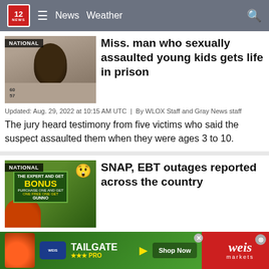12 NEWS  ☰  News  Weather  🔍
[Figure (photo): Mugshot photo of man with NATIONAL label overlay]
Miss. man who sexually assaulted young kids gets life in prison
Updated: Aug. 29, 2022 at 10:15 AM UTC  |  By WLOX Staff and Gray News staff
The jury heard testimony from five victims who said the suspect assaulted them when they were ages 3 to 10.
[Figure (photo): Photo of SNAP/EBT BONUS sign with emoji and produce, NATIONAL label overlay]
SNAP, EBT outages reported across the country
Updated: Aug. 29, 2022 at 2:24 AM UTC  |  By Amanda Alvarado and Gray News staff
An outage affecting the Supplemental Nutrition Assistance Program was reported across the country Sunday, according to Down Detector.
[Figure (photo): Weis Markets Tailgate Pro advertisement banner with Shop Now button]